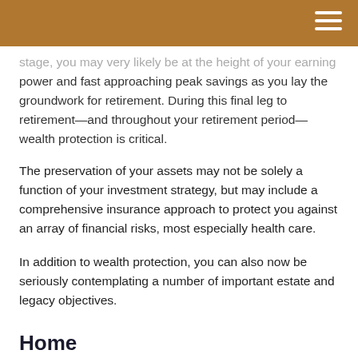stage, you may very likely be at the height of your earning power and fast approaching peak savings as you lay the groundwork for retirement. During this final leg to retirement—and throughout your retirement period—wealth protection is critical.
The preservation of your assets may not be solely a function of your investment strategy, but may include a comprehensive insurance approach to protect you against an array of financial risks, most especially health care.
In addition to wealth protection, you can also now be seriously contemplating a number of important estate and legacy objectives.
Home
Even though your mortgage may be paid off—and thus released of the lender's requirement to have homeowners